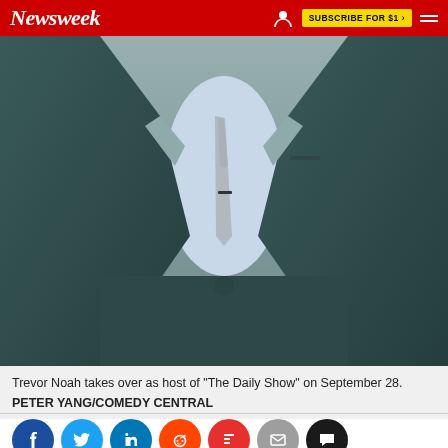Newsweek
[Figure (photo): A man in a dark teal suit jacket with a light blue shirt and grey patterned tie, photographed from the neck down against a grey background. The man has one hand on his jacket lapel.]
Trevor Noah takes over as host of "The Daily Show" on September 28.
PETER YANG/COMEDY CENTRAL
[Figure (infographic): Social sharing buttons row: Facebook (dark blue), Twitter (light blue), LinkedIn (blue), Reddit (orange), Flipboard (red), Email (grey), Comments (black)]
CULTURE
TREVOR NOAH
THE DAILY SHOW
TV
JON STEWART